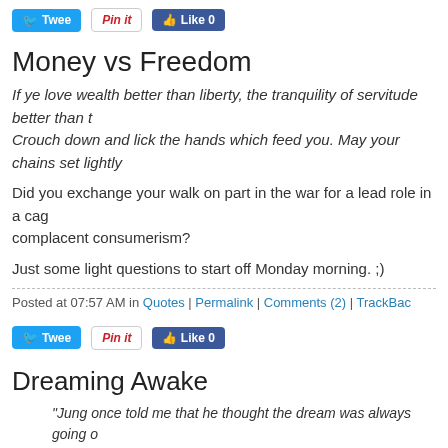[Figure (screenshot): Social sharing buttons: Tweet, Pin it, Like 0]
Money vs Freedom
If ye love wealth better than liberty, the tranquility of servitude better than t... Crouch down and lick the hands which feed you. May your chains set lightly...
Did you exchange your walk on part in the war for a lead role in a cage... complacent consumerism?
Just some light questions to start off Monday morning. ;)
Posted at 07:57 AM in Quotes | Permalink | Comments (2) | TrackBac...
[Figure (screenshot): Social sharing buttons: Tweet, Pin it, Like 0]
Dreaming Awake
"Jung once told me that he thought the dream was always going o... to outer things for it to register in consciousness at all. As a rule, t... awake."